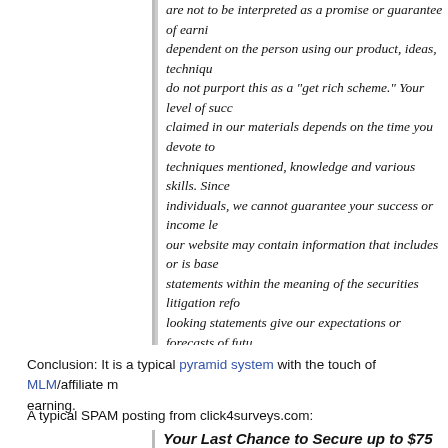are not to be interpreted as a promise or guarantee of earnings. Earnings are dependent on the person using our product, ideas, techniques, etc. We do not purport this as a "get rich scheme." Your level of success in attaining the results claimed in our materials depends on the time you devote to the program, ideas, techniques mentioned, knowledge and various skills. Since these factors differ according to individuals, we cannot guarantee your success or income level. Results reported on our website may contain information that includes or is based on forward-looking statements within the meaning of the securities litigation reform act of 1995. Forward looking statements give our expectations or forecasts of future events. You can identify these statements by the fact that they do not relate strictly to historical or current facts. They use words such as "anticipate," "estimate," "expect," "project," "intend," "plan," and other words and terms of similar meaning in connection with a description of potential earnings or financial performance. Any and all forward looking statements here or on our sales material are intended to express our opinion of earnings potential. Many factors will be important in determining your actual results and no guarantees are made that you will achieve results similar to ours or anybody else's, in fact no guarantees are made that you will achieve any results from our ideas and techniques. This is used as a money-making opportunity, you could make more or less. Since every business and this opportunity is a result of hard work, time and a variety of other factors no expressed or implied guarantees of income are made by Click4Surveys.com.
Conclusion: It is a typical pyramid system with the touch of MLM/affiliate marketing for earning.
A typical SPAM posting from click4surveys.com:
Your Last Chance to Secure up to $75...